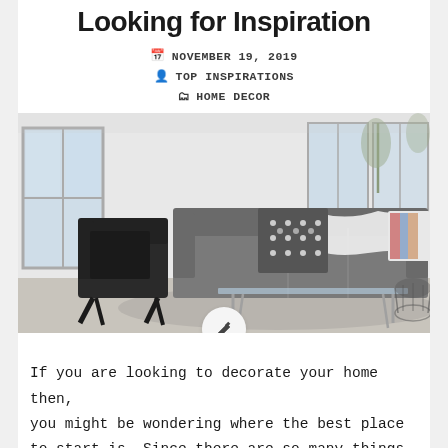Looking for Inspiration
NOVEMBER 19, 2019
TOP INSPIRATIONS
HOME DECOR
[Figure (photo): Modern living room with a dark grey sofa with patterned and white pillows, a black leather accent chair, and a glass coffee table. Bright windows in the background. White/light grey walls and floor.]
If you are looking to decorate your home then, you might be wondering where the best place to start is. Since there are so many things that you will need to do, it is important that you